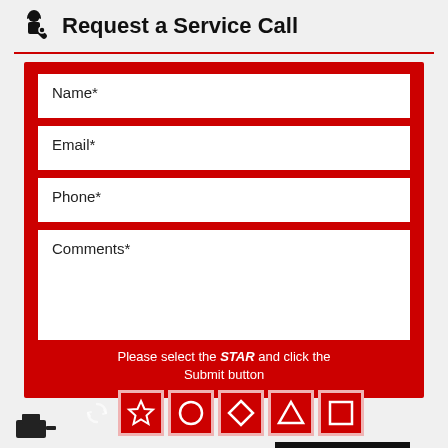Request a Service Call
[Figure (illustration): Service technician icon (worker with wrench)]
Name*
Email*
Phone*
Comments*
Please select the STAR and click the Submit button
[Figure (other): CAPTCHA shape selector with refresh icon and five shape buttons: star, circle, diamond, triangle, square]
SUBMIT
[Figure (illustration): Partial footer icon at bottom of page]